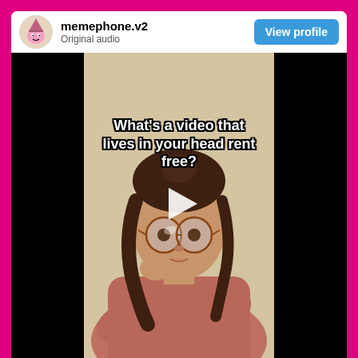[Figure (screenshot): Social media post card with pink border. Header shows memephone.v2 avatar with username and 'Original audio' text, plus a blue 'View profile' button. Below is a video thumbnail of a young woman with glasses and brown hair in a pink knit sweater, with overlaid white bold text reading 'What's a video that lives in your head rent free?' and a white play button triangle in the center. The video has black bars on left and right sides.]